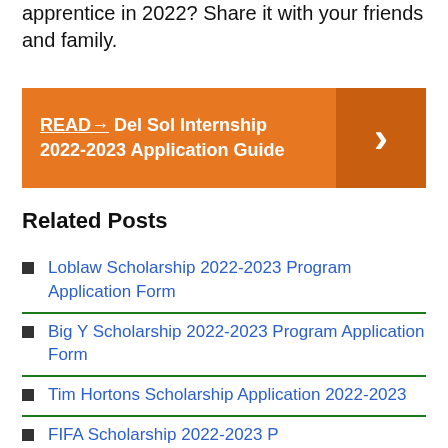apprentice in 2022? Share it with your friends and family.
[Figure (infographic): Orange banner with text 'READ→ Del Sol Internship 2022-2023 Application Guide' and a darker orange chevron arrow on the right side.]
Related Posts
Loblaw Scholarship 2022-2023 Program Application Form
Big Y Scholarship 2022-2023 Program Application Form
Tim Hortons Scholarship Application 2022-2023
FIFA Scholarship 2022-2023 P...